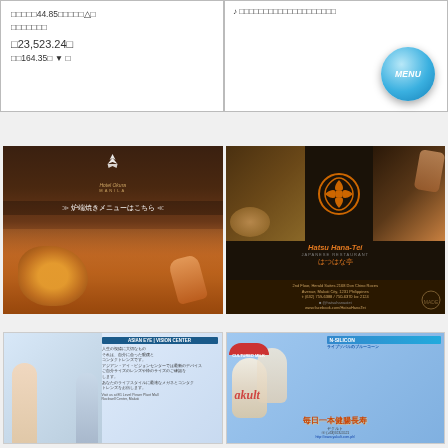□□□□□44.85□□□□□△□ □□□□□□□ □23,523.24□ □□164.35□ ▼ □
[Figure (screenshot): Right panel with music note icon and text, blue MENU button]
[Figure (photo): Hotel Okura Manila restaurant ad with roasted fish dish and Japanese text: 炉端焼きメニューはこちら]
[Figure (photo): Hatsu Hana-Tei restaurant ad with orange flower logo, Japanese food photos, tempura and sashimi. Address: 2nd Floor Herald Suites 2168 Don Chino Roces Avenue Makati City 1231 Philippines]
[Figure (photo): Asian Eye Vision Center advertisement with Japanese text and two people]
[Figure (photo): Yakult N-Silicon advertisement with Japanese text 毎日一本健腸長寿]